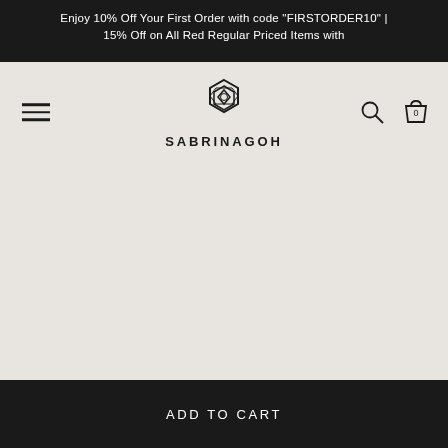Enjoy 10% Off Your First Order with code "FIRSTORDER10" | 15% Off on All Red Regular Priced Items with
[Figure (logo): SABRINAGOH brand logo — geometric interlocking hexagonal/diamond shapes above the brand name SABRINAGOH in spaced uppercase letters]
ADD TO CART